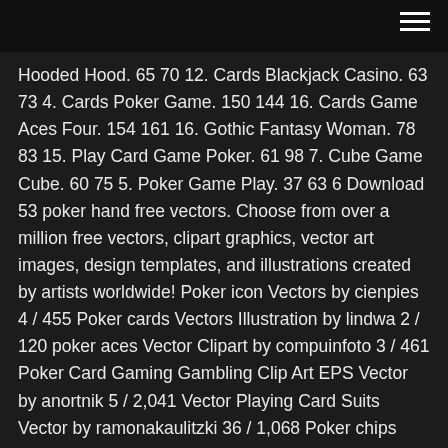Hooded Hood. 65 70 12. Cards Blackjack Casino. 63 73 4. Cards Poker Game. 150 144 16. Cards Game Aces Four. 154 161 16. Gothic Fantasy Woman. 78 83 15. Play Card Game Poker. 61 98 7. Cube Game Cube. 60 75 5. Poker Game Play. 37 63 6 Download 53 poker hand free vectors. Choose from over a million free vectors, clipart graphics, vector art images, design templates, and illustrations created by artists worldwide! Poker icon Vectors by cienpies 4 / 455 Poker cards Vectors Illustration by lindwa 2 / 120 poker aces Vector Clipart by compuinfoto 3 / 461 Poker Card Gaming Gambling Clip Art EPS Vector by anortnik 5 / 2,041 Vector Playing Card Suits Vector by ramonakaulitzki 36 / 1,068 Poker chips Vector by piai 8 / 530 3d poker signs EPS Vector by vipervxw 5 3,764 Poker Hand vectors on GoGraph.